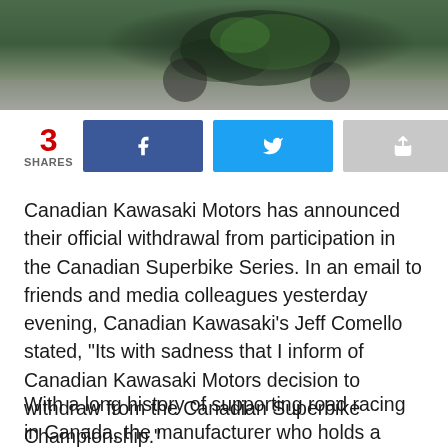[Figure (photo): Motorcycle racing photo showing a rider on a green Kawasaki motorcycle on a track, cropped at top of page]
3 SHARES [Facebook share button] [Twitter share button] [Share button]
Canadian Kawasaki Motors has announced their official withdrawal from participation in the Canadian Superbike Series. In an email to friends and media colleagues yesterday evening, Canadian Kawasaki’s Jeff Comello stated, “Its with sadness that I inform of Canadian Kawasaki Motors decision to withdraw from the Canadian Superbike Championship.”
With a long history of supporting road racing in Canada, the manufacturer who holds a number of Canadian Superbike titles sites the severe economic